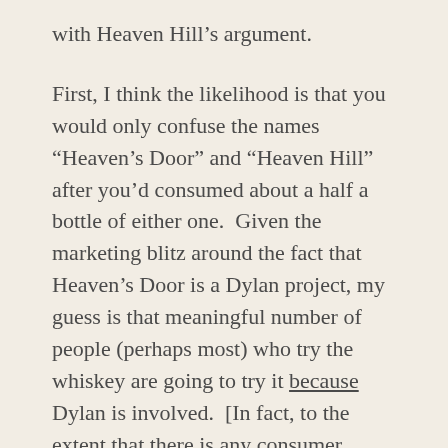with Heaven Hill’s argument.
First, I think the likelihood is that you would only confuse the names “Heaven’s Door” and “Heaven Hill” after you’d consumed about a half a bottle of either one.  Given the marketing blitz around the fact that Heaven’s Door is a Dylan project, my guess is that meaningful number of people (perhaps most) who try the whiskey are going to try it because Dylan is involved.  [In fact, to the extent that there is any consumer confusion, my suspicion is that it would work in favor of Heaven Hill, causing some whiskey neophytes to try Heaven Hill